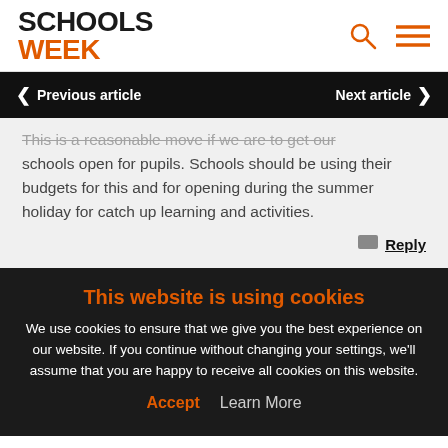[Figure (logo): Schools Week logo with 'SCHOOLS' in black bold and 'WEEK' in orange bold, plus search and hamburger menu icons]
Previous article   Next article
This is a reasonable move if we are to get our schools open for pupils. Schools should be using their budgets for this and for opening during the summer holiday for catch up learning and activities.
Reply
This website is using cookies
We use cookies to ensure that we give you the best experience on our website. If you continue without changing your settings, we'll assume that you are happy to receive all cookies on this website.
Accept   Learn More
so the Government, Schools Directed additionally funding for extra cleaning/ safety measures to keep schools open for keyworker children and vulnerable children, which is only